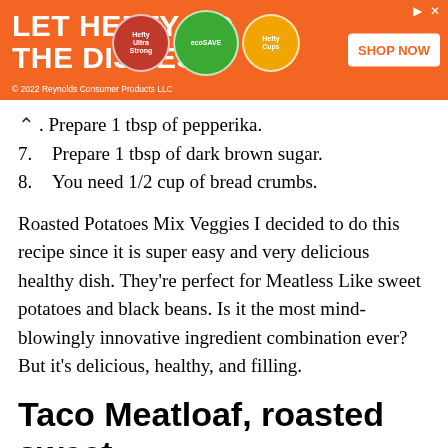[Figure (other): Orange advertisement banner for Hefty dish products reading 'LET HEFTY DO THE DISHES' with product images and SHOP NOW button. © 2022 Reynolds Consumer Products LLC]
6. Prepare 1 tbsp of pepperika.
7. Prepare 1 tbsp of dark brown sugar.
8. You need 1/2 cup of bread crumbs.
Roasted Potatoes Mix Veggies I decided to do this recipe since it is super easy and very delicious healthy dish. They're perfect for Meatless Like sweet potatoes and black beans. Is it the most mind-blowingly innovative ingredient combination ever? But it's delicious, healthy, and filling.
Taco Meatloaf, roasted sweet